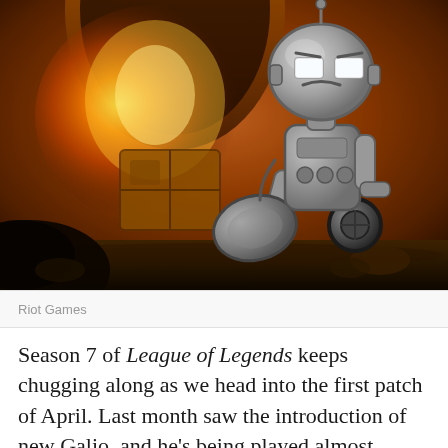[Figure (illustration): A robot character running in an orange/fire-lit industrial environment, resembling a League of Legends game character (Blitzcrank or similar). Background shows a fiery arch doorway with warm orange tones.]
Riot Games
Season 7 of League of Legends keeps chugging along as we head into the first patch of April. Last month saw the introduction of new Galio, and he's being played almost everywhere right now, with viability in the top lane, mid lane, jungle and support